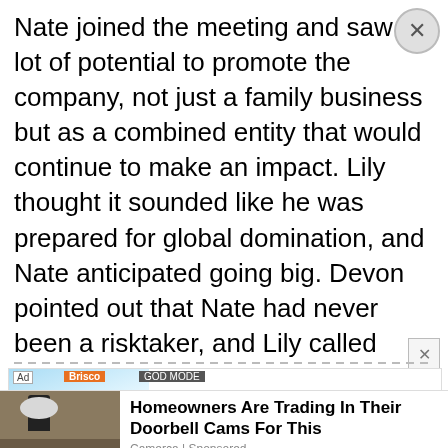Nate joined the meeting and saw a lot of potential to promote the company, not just a family business but as a combined entity that would continue to make an impact. Lily thought it sounded like he was prepared for global domination, and Nate anticipated going big. Devon pointed out that Nate had never been a risktaker, and Lily called Nate a business phenom waiting to be unleashed. Billy remained quiet as Devon asked if Nate was expressing some pent-up frustration.
[Figure (screenshot): Mobile app advertisement for BitLife - Life Simulator showing a cartoon baby monk with heart-shaped sunglasses on a blue background, with the BitLife app icon]
[Figure (photo): Advertisement showing a security camera mounted on a stone wall, with text: Homeowners Are Trading In Their Doorbell Cams For This - Camerca | Sponsored]